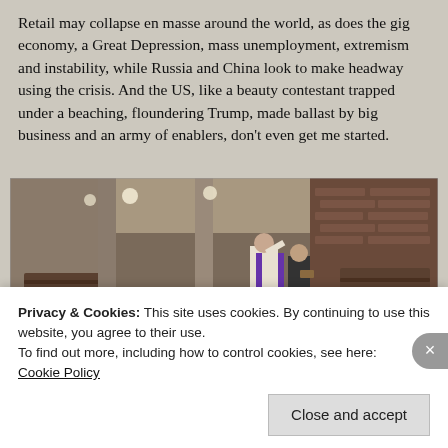Retail may collapse en masse around the world, as does the gig economy, a Great Depression, mass unemployment, extremism and instability, while Russia and China look to make headway using the crisis. And the US, like a beauty contestant trapped under a beaching, floundering Trump, made ballast by big business and an army of enablers, don't even get me started.
[Figure (photo): Interior of a large church or cathedral with rows of coffins laid out along the central aisle. Two clergy members in robes walk among the coffins. Brick walls, tall columns, and wooden pews are visible.]
Privacy & Cookies: This site uses cookies. By continuing to use this website, you agree to their use.
To find out more, including how to control cookies, see here:
Cookie Policy
Close and accept